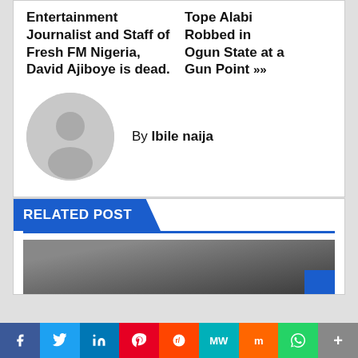Entertainment Journalist and Staff of Fresh FM Nigeria, David Ajiboye is dead.
Tope Alabi Robbed in Ogun State at a Gun Point »
By Ibile naija
RELATED POST
[Figure (photo): Related post thumbnail image - dark background]
[Figure (infographic): Social media sharing bar with Facebook, Twitter, LinkedIn, Pinterest, Reddit, MeWe, Mix, WhatsApp, More buttons]